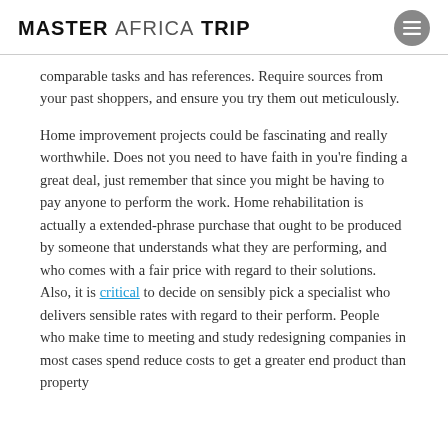MASTER AFRICA TRIP
comparable tasks and has references. Require sources from your past shoppers, and ensure you try them out meticulously.
Home improvement projects could be fascinating and really worthwhile. Does not you need to have faith in you're finding a great deal, just remember that since you might be having to pay anyone to perform the work. Home rehabilitation is actually a extended-phrase purchase that ought to be produced by someone that understands what they are performing, and who comes with a fair price with regard to their solutions. Also, it is critical to decide on sensibly pick a specialist who delivers sensible rates with regard to their perform. People who make time to meeting and study redesigning companies in most cases spend reduce costs to get a greater end product than property